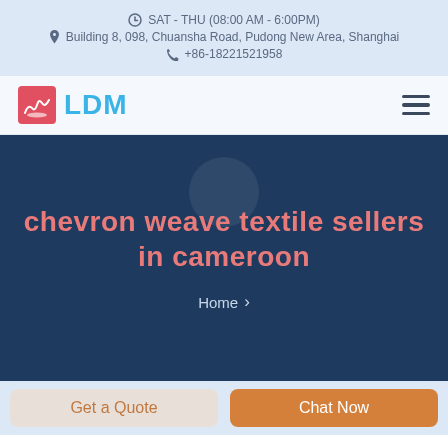SAT - THU (08:00 AM - 6:00PM)
Building 8, 098, Chuansha Road, Pudong New Area, Shanghai
+86-18221521958
[Figure (logo): LDM company logo with sailboat icon in red/pink square and blue LDM text]
chevron weave textile sellers in cameroon
Home >
Get a Quote
Chat Now